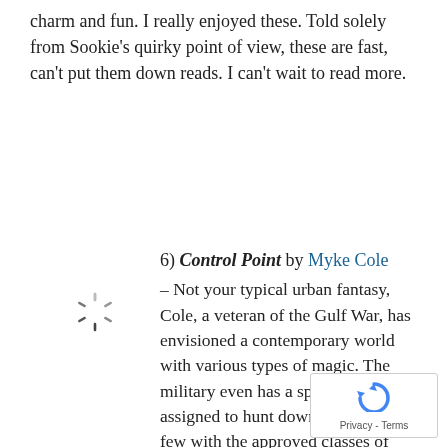charm and fun. I really enjoyed these. Told solely from Sookie’s quirky point of view, these are fast, can’t put them down reads. I can’t wait to read more.
6) Control Point by Myke Cole – Not your typical urban fantasy, Cole, a veteran of the Gulf War, has envisioned a contemporary world with various types of magic. The military even has a special unit assigned to hunt down rogue users. A few with the approved classes of magic actually work for the military, but then Oscar Britton finds out he’s a portomancer–ah oh, verbotten–and he’s forced t…